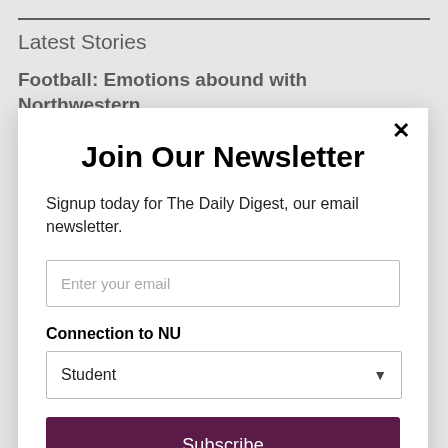Latest Stories
Football: Emotions abound with Northwestern victory in Ireland
Join Our Newsletter
Signup today for The Daily Digest, our email newsletter.
Enter your email
Connection to NU
Student
Subscribe